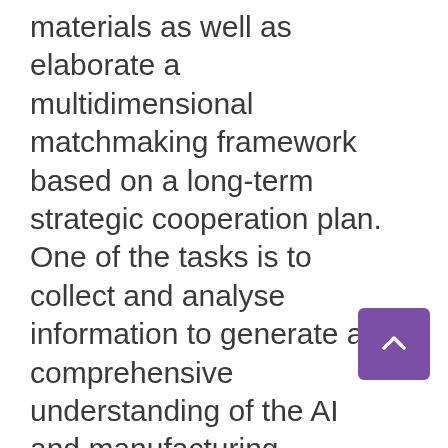materials as well as elaborate a multidimensional matchmaking framework based on a long-term strategic cooperation plan. One of the tasks is to collect and analyse information to generate a comprehensive understanding of the AI and manufacturing ecosystem in Europe and Japan. To this end, the EU-Japan AI